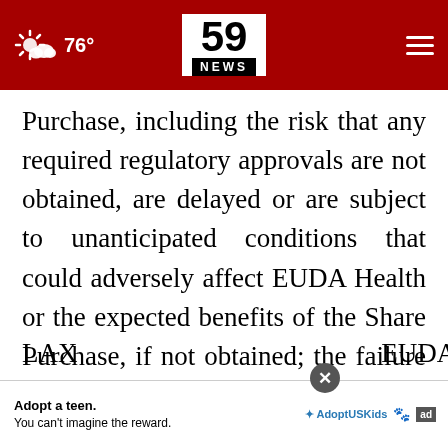59 NEWS | 76°
Purchase, including the risk that any required regulatory approvals are not obtained, are delayed or are subject to unanticipated conditions that could adversely affect EUDA Health or the expected benefits of the Share Purchase, if not obtained; the failure to realize the anticipated benefits of the business combination; matters discovered by the parties as they complete their respective due diligence investigations of the other; and the ability of LAX ... EUDA